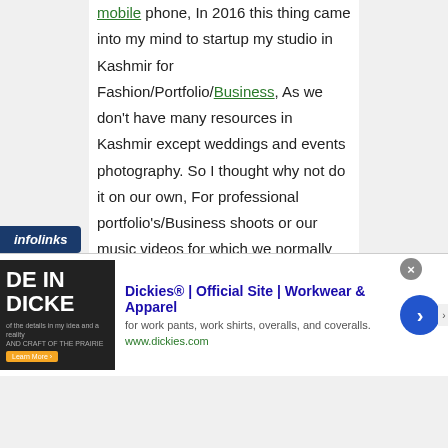mobile phone, In 2016 this thing came into my mind to startup my studio in Kashmir for Fashion/Portfolio/Business, As we don't have many resources in Kashmir except weddings and events photography. So I thought why not do it on our own, For professional portfolio's/Business shoots or our music videos for which we normally preferred going outside. I always dreamt of setting something here in Kashmir which Allhamdulilah became possible. I do shoot now professional portfolios & Business shoots, Music video poster shoots, I am awarding people about this
[Figure (screenshot): Infolinks advertisement banner for Dickies workwear showing logo, product image, title 'Dickies® | Official Site | Workwear & Apparel', description 'for work pants, work shirts, overalls, and coveralls.', URL www.dickies.com, and a blue navigation arrow button]